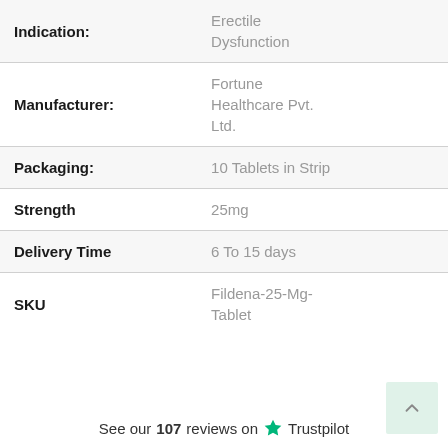| Field | Value |
| --- | --- |
| Indication: | Erectile Dysfunction |
| Manufacturer: | Fortune Healthcare Pvt. Ltd. |
| Packaging: | 10 Tablets in Strip |
| Strength | 25mg |
| Delivery Time | 6 To 15 days |
| SKU | Fildena-25-Mg-Tablet |
See our 107 reviews on Trustpilot